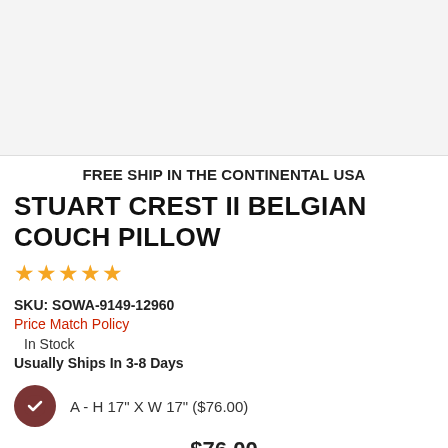[Figure (photo): Product image area (blank/light gray background placeholder for pillow photo)]
FREE SHIP IN THE CONTINENTAL USA
STUART CREST II BELGIAN COUCH PILLOW
[Figure (other): Five gold star rating icons]
SKU: SOWA-9149-12960
Price Match Policy
In Stock
Usually Ships In 3-8 Days
A - H 17" X W 17" ($76.00)
$76.00